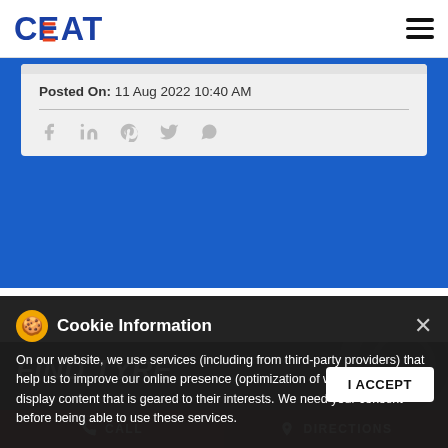CEAT logo and navigation menu
Posted On: 11 Aug 2022 10:40 AM
[Figure (screenshot): Social media share icons: Facebook, LinkedIn, Pinterest, Twitter, WhatsApp]
FIND TYRE
[Figure (screenshot): Cookie Information overlay with cookie emoji icon and close X button]
On our website, we use services (including from third-party providers) that help us to improve our online presence (optimization of website) and to display content that is geared to their interests. We need your consent before being able to use these services.
I ACCEPT
CALL | DIRECTIONS